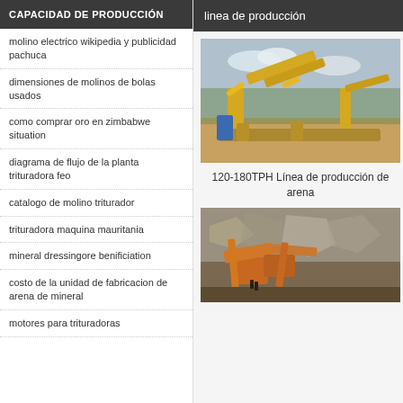CAPACIDAD DE PRODUCCIÓN
molino electrico wikipedia y publicidad pachuca
dimensiones de molinos de bolas usados
como comprar oro en zimbabwe situation
diagrama de flujo de la planta trituradora feo
catalogo de molino triturador
trituradora maquina mauritania
mineral dressingore benificiation
costo de la unidad de fabricacion de arena de mineral
motores para trituradoras
linea de producción
[Figure (photo): Yellow industrial sand production line machinery with conveyor belts outdoors]
120-180TPH Línea de producción de arena
[Figure (photo): Orange rock crushing machinery at a quarry site]